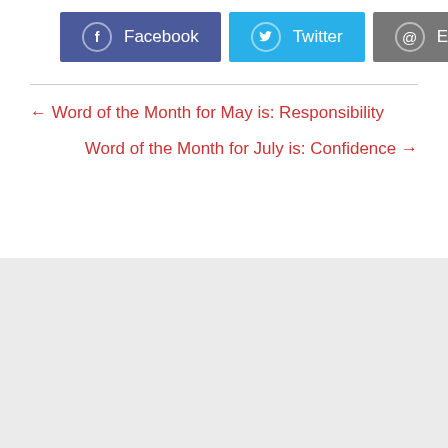[Figure (other): Social share buttons: Facebook (dark blue), Twitter (light blue), Email (gray), each with icon and label]
← Word of the Month for May is: Responsibility
Word of the Month for July is: Confidence →